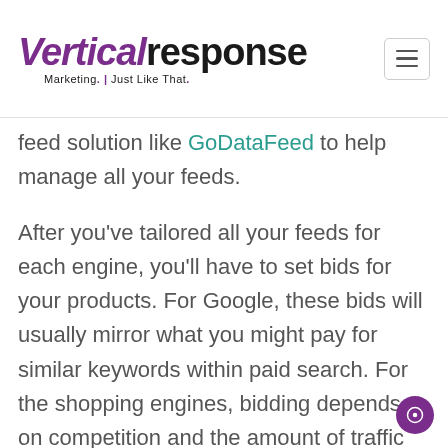VerticalResponse — Marketing. Just Like That.
feed solution like GoDataFeed to help manage all your feeds.
After you've tailored all your feeds for each engine, you'll have to set bids for your products. For Google, these bids will usually mirror what you might pay for similar keywords within paid search. For the shopping engines, bidding depends on competition and the amount of traffic so starting out will be some what of an experimentation. It helps to do some